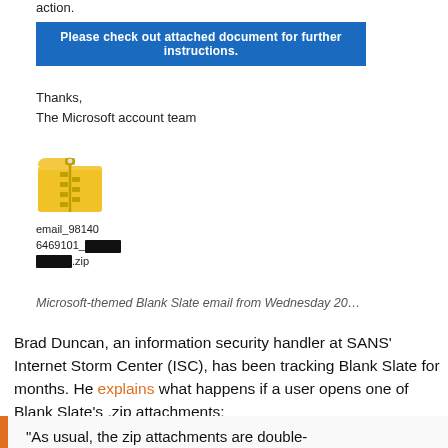action.
Please check out attached document for further instructions.
Thanks,
The Microsoft account team
[Figure (illustration): Yellow zip folder icon with zipper graphic representing an email attachment]
email_98140
6469101_[redacted]
[redacted].zip
Microsoft-themed Blank Slate email from Wednesday 20...
Brad Duncan, an information security handler at SANS’ Internet Storm Center (ISC), has been tracking Blank Slate for months. He explains what happens if a user opens one of Blank Slate’s .zip attachments:
“As usual, the zip attachments are double-zipped, and they contain a .js file designed to